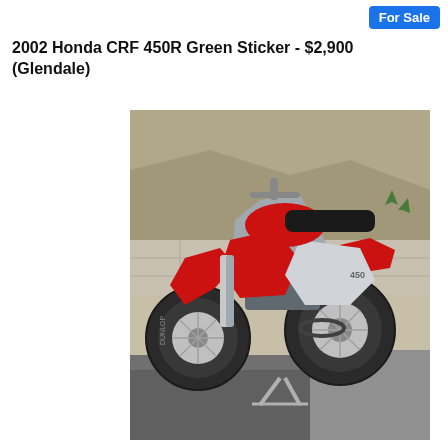For Sale
2002 Honda CRF 450R Green Sticker - $2,900 (Glendale)
[Figure (photo): A 2002 Honda CRF 450R dirt bike in red and silver/white colorway, parked on a stand on a dark concrete surface, with a block wall and hillside in the background.]